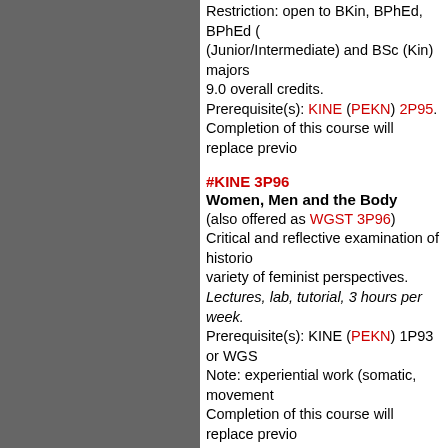Restriction: open to BKin, BPhEd, BPhEd (Junior/Intermediate) and BSc (Kin) majors 9.0 overall credits. Prerequisite(s): KINE (PEKN) 2P95. Completion of this course will replace previo...
#KINE 3P96
Women, Men and the Body
(also offered as WGST 3P96)
Critical and reflective examination of historic... variety of feminist perspectives.
Lectures, lab, tutorial, 3 hours per week.
Prerequisite(s): KINE (PEKN) 1P93 or WGS...
Note: experiential work (somatic, movement...
Completion of this course will replace previo...
KINE 3P98
Functional Anatomy
Exploration of the structure and function of h... movement problems related to physical acti...
Lectures, lab, 3 hours per week.
Restriction: open to BKin, BPhEd, BPhEd(H... (Junior/Intermediate) and BSc (Kin) majors...
Prerequisite(s): HLSC (CHSC) 2F95 (minim...